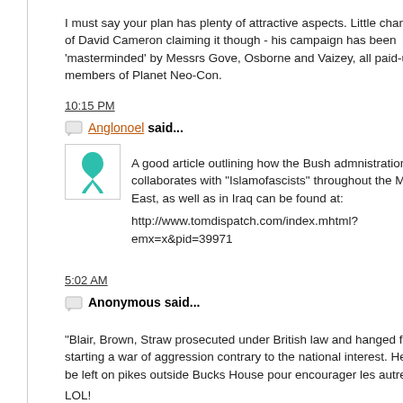I must say your plan has plenty of attractive aspects. Little chance of David Cameron claiming it though - his campaign has been 'masterminded' by Messrs Gove, Osborne and Vaizey, all paid-up members of Planet Neo-Con.
10:15 PM
Anglonoel said...
A good article outlining how the Bush admnistration collaborates with "Islamofascists" throughout the Middle East, as well as in Iraq can be found at:
http://www.tomdispatch.com/index.mhtml?emx=x&pid=39971
5:02 AM
Anonymous said...
"Blair, Brown, Straw prosecuted under British law and hanged for starting a war of aggression contrary to the national interest. Head to be left on pikes outside Bucks House pour encourager les autres."
LOL!